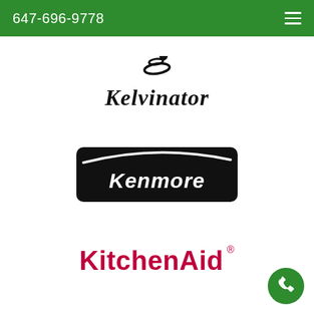647-696-9778
[Figure (logo): Kelvinator brand logo with stylized graphic above italic serif text 'Kelvinator']
[Figure (logo): Kenmore brand logo — white italic text 'Kenmore' with swoosh on black rounded rectangle background]
[Figure (logo): KitchenAid brand logo in bold crimson/red text with registered trademark symbol]